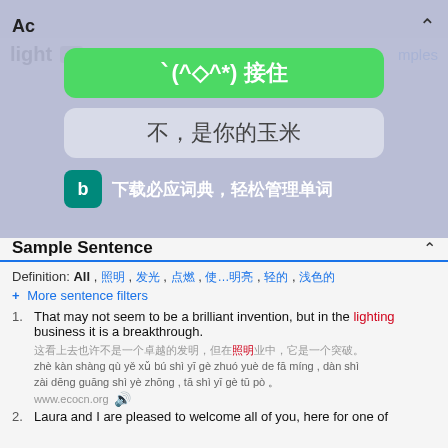Ac
light
nples
n.
1.
2.
[Figure (screenshot): Green button with emoji text: ˋ(^◇^*)接住]
不，是你的玉米
下载必应词典，轻松管理单词
Sample Sentence
Definition: All , 照明 , 发光 , 点燃 , 使…明亮 , 轻的 , 浅色的
+ More sentence filters
1. That may not seem to be a brilliant invention, but in the lighting business it is a breakthrough.
这看上去也许不是一个卓越的发明，但在照明业中，它是一个突破。
zhè kàn shàng qù yě xǔ bú shì yī gè zhuó yuè de fā míng , dàn shì zài dēng guāng shì yè zhōng , tā shì yī gè tū pò 。
www.ecocn.org
2. Laura and I are pleased to welcome all of you, here for one of